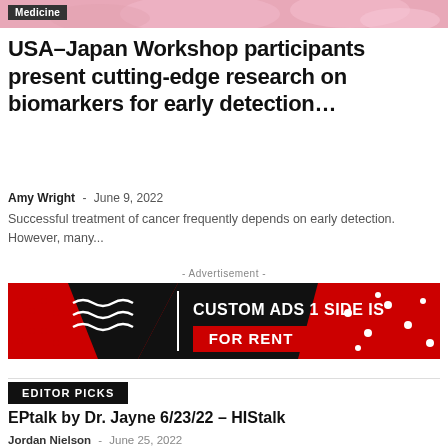[Figure (photo): Pink/rose colored background image strip at top of page, partially visible]
Medicine
USA–Japan Workshop participants present cutting-edge research on biomarkers for early detection…
Amy Wright  -  June 9, 2022
Successful treatment of cancer frequently depends on early detection. However, many...
- Advertisement -
[Figure (advertisement): Black banner ad with red accents and white wavy lines on left side, text reads CUSTOM ADS 1 SIDE IS FOR RENT in white and red]
EDITOR PICKS
EPtalk by Dr. Jayne 6/23/22 – HIStalk
Jordan Nielson  -  June 25, 2022
7 Yoga Poses to Ease Tight Hips